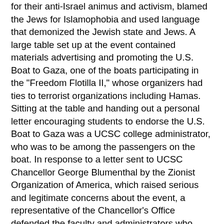for their anti-Israel animus and activism, blamed the Jews for Islamophobia and used language that demonized the Jewish state and Jews. A large table set up at the event contained materials advertising and promoting the U.S. Boat to Gaza, one of the boats participating in the "Freedom Flotilla II," whose organizers had ties to terrorist organizations including Hamas. Sitting at the table and handing out a personal letter encouraging students to endorse the U.S. Boat to Gaza was a UCSC college administrator, who was to be among the passengers on the boat. In response to a letter sent to UCSC Chancellor George Blumenthal by the Zionist Organization of America, which raised serious and legitimate concerns about the event, a representative of the Chancellor's Office defended the faculty and administrators who organized the event, and showed no concern at all for its anti-Jewish content or the effect it would have on Jewish students.
In September 2011, UCLA Today, the official news outlet of the UCLA Chancellor's Office, published an unscholarly and politically-motivated article about the Palestinian bid for statehood, which contained numerous falsehoods, omissions and distortions, effectively calling for the elimination of